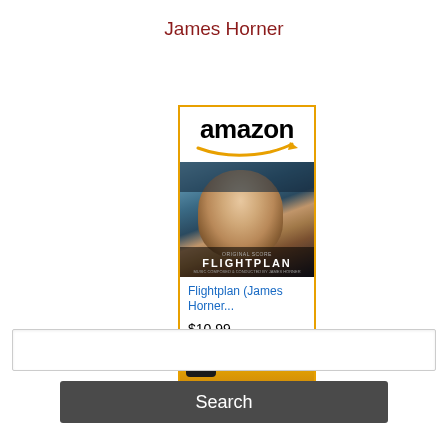James Horner
[Figure (screenshot): Amazon product widget showing Flightplan (James Horner...) for $10.99 with a Shop now button]
Search